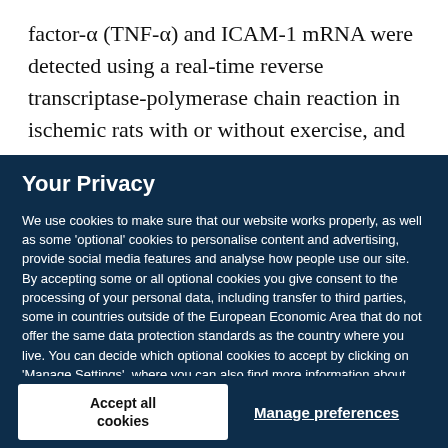factor-α (TNF-α) and ICAM-1 mRNA were detected using a real-time reverse transcriptase-polymerase chain reaction in ischemic rats with or without exercise, and in
Your Privacy
We use cookies to make sure that our website works properly, as well as some 'optional' cookies to personalise content and advertising, provide social media features and analyse how people use our site. By accepting some or all optional cookies you give consent to the processing of your personal data, including transfer to third parties, some in countries outside of the European Economic Area that do not offer the same data protection standards as the country where you live. You can decide which optional cookies to accept by clicking on 'Manage Settings', where you can also find more information about how your personal data is processed. Further information can be found in our privacy policy.
Accept all cookies
Manage preferences